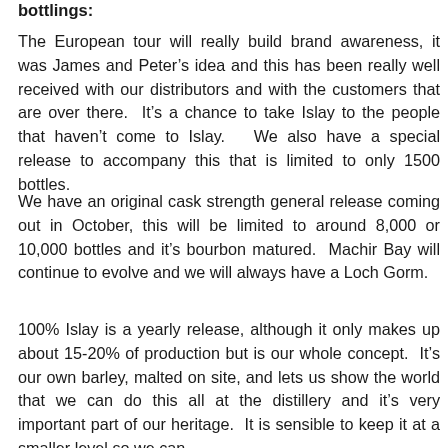bottlings:
The European tour will really build brand awareness, it was James and Peter’s idea and this has been really well received with our distributors and with the customers that are over there.  It’s a chance to take Islay to the people that haven’t come to Islay.   We also have a special release to accompany this that is limited to only 1500 bottles.
We have an original cask strength general release coming out in October, this will be limited to around 8,000 or 10,000 bottles and it’s bourbon matured.  Machir Bay will continue to evolve and we will always have a Loch Gorm.
100% Islay is a yearly release, although it only makes up about 15-20% of production but is our whole concept.  It’s our own barley, malted on site, and lets us show the world that we can do this all at the distillery and it’s very important part of our heritage.  It is sensible to keep it at a smaller level so we can